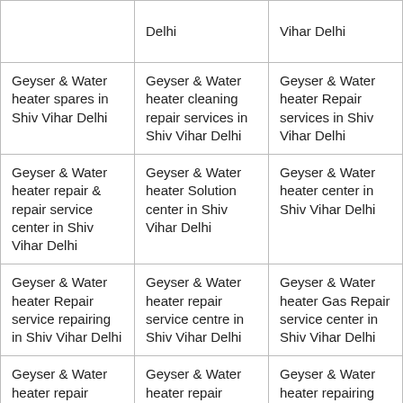|  | Delhi | Vihar Delhi |
| Geyser & Water heater spares in Shiv Vihar Delhi | Geyser & Water heater cleaning repair services in Shiv Vihar Delhi | Geyser & Water heater Repair services in Shiv Vihar Delhi |
| Geyser & Water heater repair & repair service center in Shiv Vihar Delhi | Geyser & Water heater Solution center in Shiv Vihar Delhi | Geyser & Water heater center in Shiv Vihar Delhi |
| Geyser & Water heater Repair service repairing in Shiv Vihar Delhi | Geyser & Water heater repair service centre in Shiv Vihar Delhi | Geyser & Water heater Gas Repair service center in Shiv Vihar Delhi |
| Geyser & Water heater repair service center in Shiv Vihar Delhi. | Geyser & Water heater repair repair service center in Shiv Vihar Delhi. | Geyser & Water heater repairing center in Shiv Vihar Delhi |
|  |  |  |